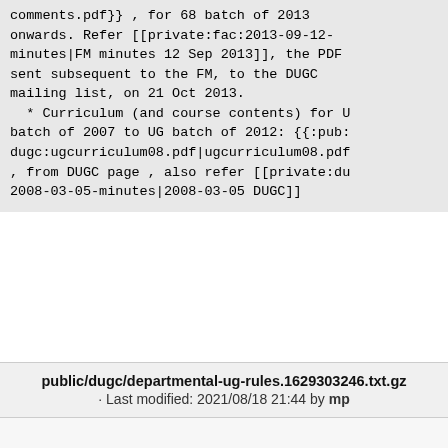comments.pdf}} , for 68 batch of 2013 onwards. Refer [[private:fac:2013-09-12-minutes|FM minutes 12 Sep 2013]], the PDF sent subsequent to the FM, to the DUGC mailing list, on 21 Oct 2013.
  * Curriculum (and course contents) for UG batch of 2007 to UG batch of 2012: {{:public:dugc:ugcurriculum08.pdf|ugcurriculum08.pdf}} , from DUGC page , also refer [[private:dugc:2008-03-05-minutes|2008-03-05 DUGC]]
public/dugc/departmental-ug-rules.1629303246.txt.gz · Last modified: 2021/08/18 21:44 by mp
Except where otherwise noted, content on this wiki is licensed under the following license: CC Attribution-Share Alike 4.0 International